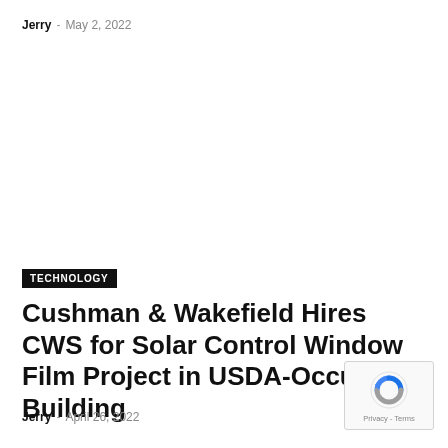Jerry - May 2, 2022
TECHNOLOGY
Cushman & Wakefield Hires CWS for Solar Control Window Film Project in USDA-Occupied Building
Jerry - April 26, 2022
[Figure (other): reCAPTCHA badge with Privacy and Terms links]